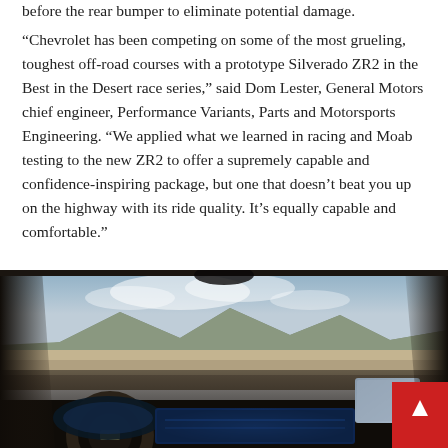before the rear bumper to eliminate potential damage.
“Chevrolet has been competing on some of the most grueling, toughest off-road courses with a prototype Silverado ZR2 in the Best in the Desert race series,” said Dom Lester, General Motors chief engineer, Performance Variants, Parts and Motorsports Engineering. “We applied what we learned in racing and Moab testing to the new ZR2 to offer a supremely capable and confidence-inspiring package, but one that doesn’t beat you up on the highway with its ride quality. It’s equally capable and comfortable.”
[Figure (photo): Interior view from driver's seat of a Chevrolet Silverado ZR2, showing the steering wheel with Chevy logo, digital instrument cluster, large touchscreen infotainment display in the center console, and the view through the windshield of a desert landscape with mountains and cloudy sky. A red scroll-to-top button appears in the bottom right corner.]